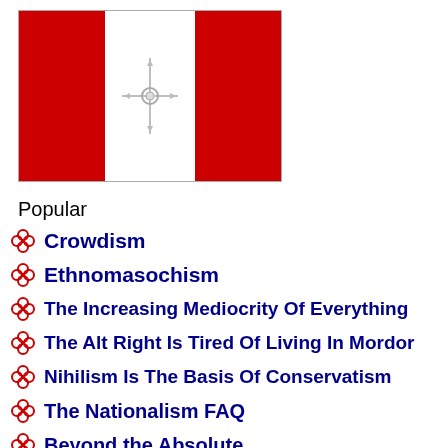[Figure (illustration): Canadian flag-like image with red panels on left and right, white center panel with a compass/crosshair symbol in grey]
Popular
Crowdism
Ethnomasochism
The Increasing Mediocrity Of Everything
The Alt Right Is Tired Of Living In Mordor
Nihilism Is The Basis Of Conservatism
The Nationalism FAQ
Beyond the Absolute
Conservationism Versus Environmentalism